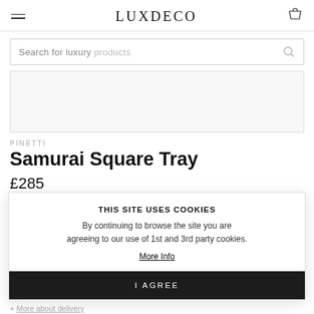LUXDECO
Search for luxury products
[Figure (other): Product image placeholder area - white/light grey rectangle]
PINETTI
Samurai Square Tray
£285
THIS SITE USES COOKIES
By continuing to browse the site you are agreeing to our use of 1st and 3rd party cookies.
More Info
I AGREE
+ More about delivery